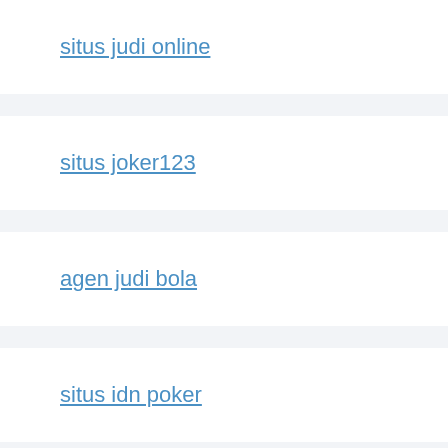situs judi online
situs joker123
agen judi bola
situs idn poker